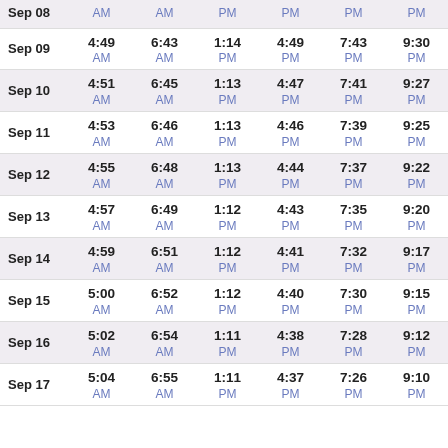| Date | Col1 | Col2 | Col3 | Col4 | Col5 | Col6 |
| --- | --- | --- | --- | --- | --- | --- |
| Sep 08 | AM | AM | PM | PM | PM | PM |
| Sep 09 | 4:49 AM | 6:43 AM | 1:14 PM | 4:49 PM | 7:43 PM | 9:30 PM |
| Sep 10 | 4:51 AM | 6:45 AM | 1:13 PM | 4:47 PM | 7:41 PM | 9:27 PM |
| Sep 11 | 4:53 AM | 6:46 AM | 1:13 PM | 4:46 PM | 7:39 PM | 9:25 PM |
| Sep 12 | 4:55 AM | 6:48 AM | 1:13 PM | 4:44 PM | 7:37 PM | 9:22 PM |
| Sep 13 | 4:57 AM | 6:49 AM | 1:12 PM | 4:43 PM | 7:35 PM | 9:20 PM |
| Sep 14 | 4:59 AM | 6:51 AM | 1:12 PM | 4:41 PM | 7:32 PM | 9:17 PM |
| Sep 15 | 5:00 AM | 6:52 AM | 1:12 PM | 4:40 PM | 7:30 PM | 9:15 PM |
| Sep 16 | 5:02 AM | 6:54 AM | 1:11 PM | 4:38 PM | 7:28 PM | 9:12 PM |
| Sep 17 | 5:04 AM | 6:55 AM | 1:11 PM | 4:37 PM | 7:26 PM | 9:10 PM |